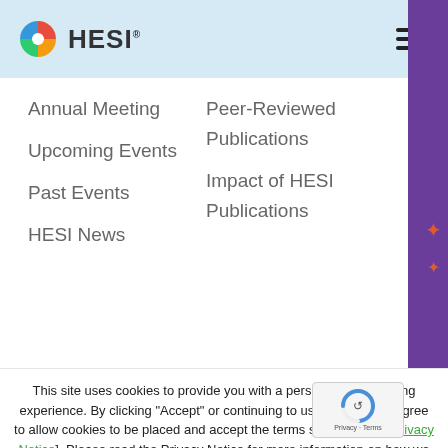HESI
Annual Meeting
Upcoming Events
Past Events
HESI News
Peer-Reviewed
Publications
Impact of HESI
Publications
This site uses cookies to provide you with a personalized browsing experience. By clicking “Accept” or continuing to use the site you agree to allow cookies to be placed and accept the terms set out in our [Privacy Notice]. Please read the Privacy Notice for more information on how we handle information collected from users and how you can control the use information.
Cookie settings
ACCEPT